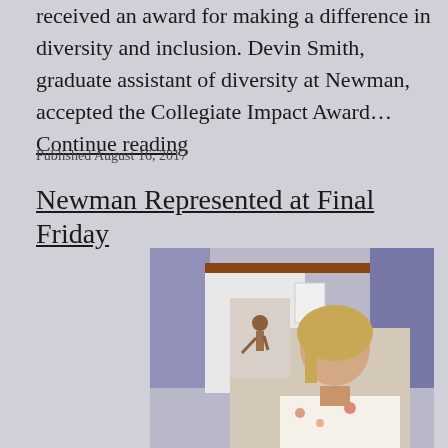received an award for making a difference in diversity and inclusion. Devin Smith, graduate assistant of diversity at Newman, accepted the Collegiate Impact Award… Continue reading
Published August 16, 2017
Newman Represented at Final Friday
[Figure (photo): A young woman with blonde hair smiling, standing in front of artwork displayed on a wall at what appears to be an art gallery event.]